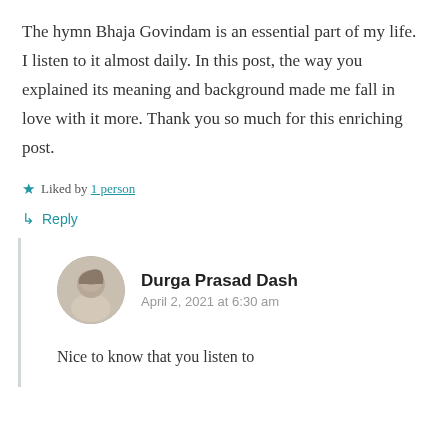The hymn Bhaja Govindam is an essential part of my life. I listen to it almost daily. In this post, the way you explained its meaning and background made me fall in love with it more. Thank you so much for this enriching post.
★ Liked by 1 person
↳ Reply
Durga Prasad Dash
April 2, 2021 at 6:30 am
Nice to know that you listen to